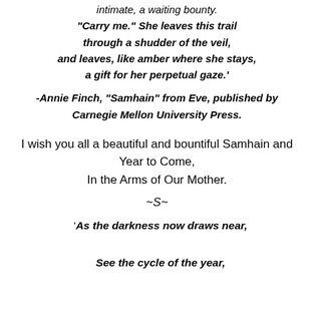intimate, a waiting bounty.
"Carry me." She leaves this trail
through a shudder of the veil,
and leaves, like amber where she stays,
a gift for her perpetual gaze.'
-Annie Finch, "Samhain" from Eve, published by Carnegie Mellon University Press.
I wish you all a beautiful and bountiful Samhain and Year to Come,
In the Arms of Our Mother.
~S~
'As the darkness now draws near,

See the cycle of the year,